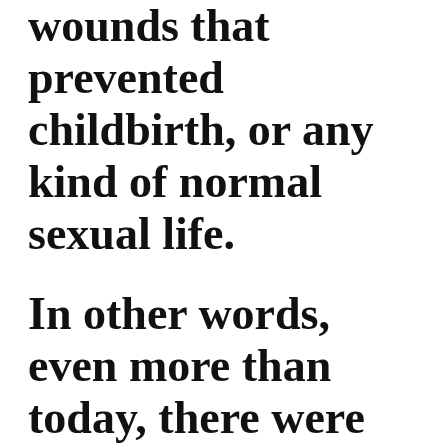wounds that prevented childbirth, or any kind of normal sexual life.
In other words, even more than today, there were aspects of childbearing that